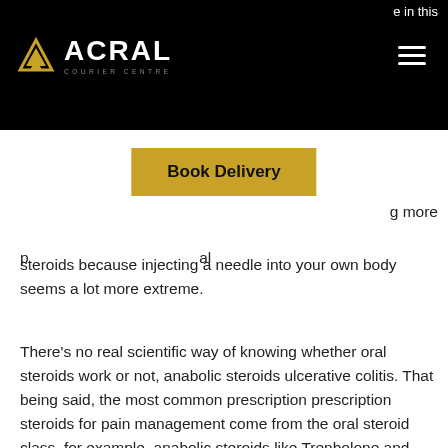ACRAL COURIER CENTRE — Book Delivery
steroids because injecting a needle into your own body seems a lot more extreme.
There's no real scientific way of knowing whether oral steroids work or not, anabolic steroids ulcerative colitis. That being said, the most common prescription prescription steroids for pain management come from the oral steroid class, for example, anabolic steroids like Trenbolone and Nandrolone. These prescription forms of testosterone are made to be absorbed through the stomach mucosa by a process that can cause an increase in stomach acid; this increases the risk of infection as well, sustanon fiyat 2022. They also have side effects which are